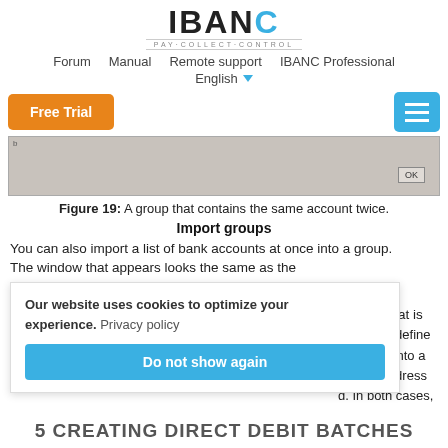IBANC PAY·COLLECT·CONTROL — Forum  Manual  Remote support  IBANC Professional  English
[Figure (screenshot): A dialog box showing a group that contains the same account twice, with an OK button]
Figure 19: A group that contains the same account twice.
Import groups
You can also import a list of bank accounts at once into a group. The window that appears looks the same as the window that is used to... You can define accounts into a t in the address d. In both cases,
Our website uses cookies to optimize your experience. Privacy policy
Do not show again
5 CREATING DIRECT DEBIT BATCHES